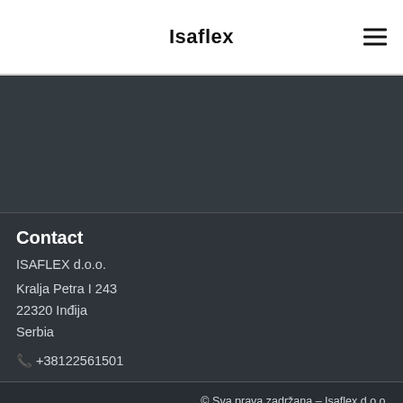Isaflex
[Figure (other): Dark gray background area (image placeholder)]
Contact
ISAFLEX d.o.o.
Kralja Petra I 243
22320 Inđija
Serbia
📞 +38122561501
© Sva prava zadržana – Isaflex d.o.o.